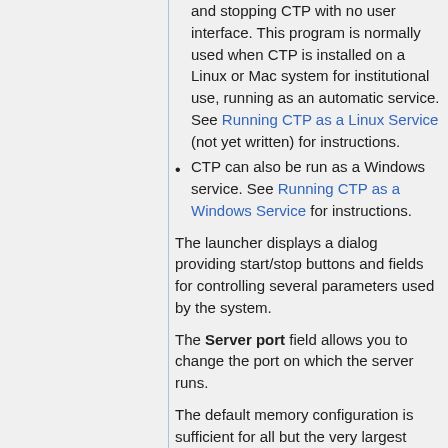and stopping CTP with no user interface. This program is normally used when CTP is installed on a Linux or Mac system for institutional use, running as an automatic service. See Running CTP as a Linux Service (not yet written) for instructions.
CTP can also be run as a Windows service. See Running CTP as a Windows Service for instructions.
The launcher displays a dialog providing start/stop buttons and fields for controlling several parameters used by the system.
The Server port field allows you to change the port on which the server runs.
The default memory configuration is sufficient for all but the very largest sites. For sites with 8000 concurrent machines, fl...